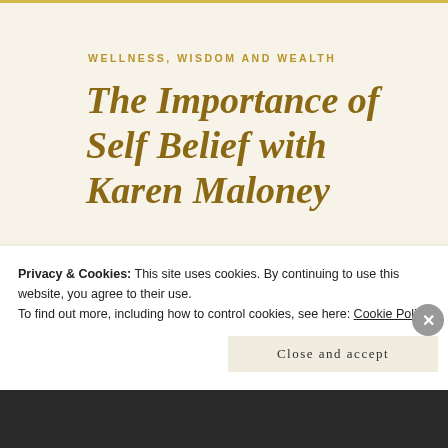WELLNESS, WISDOM AND WEALTH
The Importance of Self Belief with Karen Maloney
JANUARY 3, 2022 | BLISSFUL LIVING 4 U | LEAVE A COMMENT
https://b...dbeen.com/media/ch
Privacy & Cookies: This site uses cookies. By continuing to use this website, you agree to their use.
To find out more, including how to control cookies, see here: Cookie Policy
Close and accept